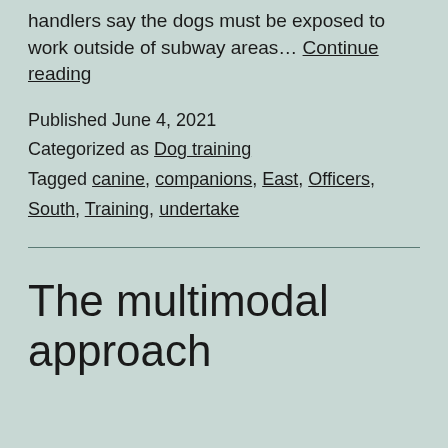handlers say the dogs must be exposed to work outside of subway areas… Continue reading
Published June 4, 2021
Categorized as Dog training
Tagged canine, companions, East, Officers, South, Training, undertake
The multimodal approach